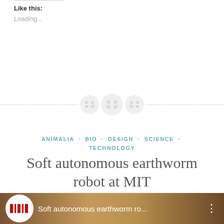Like this:
Loading...
[Figure (illustration): Decorative divider with three button-like circular icons and dashed line]
ANIMALIA · BIO · DESIGN · SCIENCE · TECHNOLOGY
Soft autonomous earthworm robot at MIT
August 14, 2012 · Leave a comment
[Figure (screenshot): YouTube video thumbnail showing MIT logo and title Soft autonomous earthworm ro...]